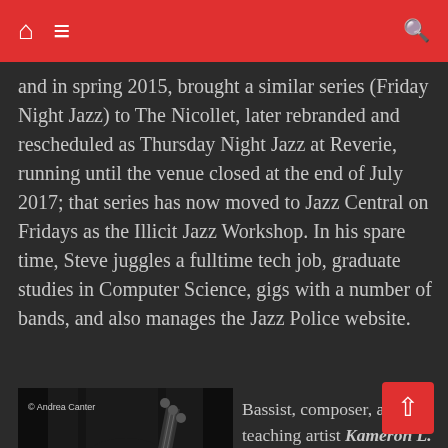Navigation bar with home, menu, and search icons
and in spring 2015, brought a similar series (Friday Night Jazz) to The Nicollet, later rebranded and rescheduled as Thursday Night Jazz at Reverie, running until the venue closed at the end of July 2017; that series has now moved to Jazz Central on Fridays as the Illicit Jazz Workshop. In his spare time, Steve juggles a fulltime tech job, graduate studies in Computer Science, gigs with a number of bands, and also manages the Jazz Police website.
[Figure (photo): Black and white photo of a musician playing bass, © Andrea Canter]
Bassist, composer, and teaching artist Kameron L. Markworth is a graduate of Indiana University, Augsburg College, and McNally Smith College of Music, currently teaching Jazz History at Augsburg. Locally he has performed with Paul Harpers